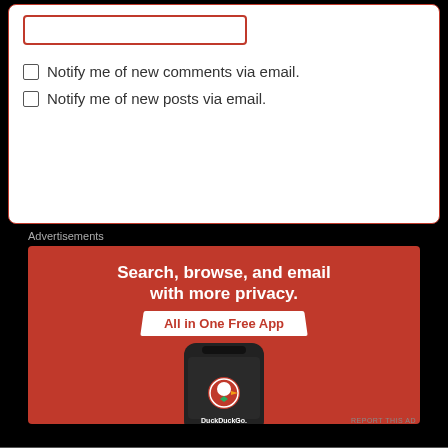Notify me of new comments via email.
Notify me of new posts via email.
Advertisements
[Figure (illustration): DuckDuckGo advertisement banner with orange background. Text reads: 'Search, browse, and email with more privacy. All in One Free App'. Shows a smartphone with DuckDuckGo duck logo and 'DuckDuckGo.' text.]
REPORT THIS AD